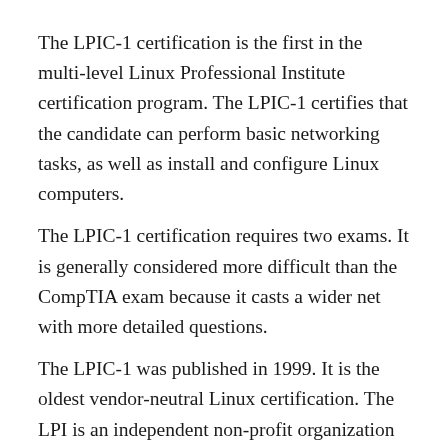The LPIC-1 certification is the first in the multi-level Linux Professional Institute certification program. The LPIC-1 certifies that the candidate can perform basic networking tasks, as well as install and configure Linux computers.
The LPIC-1 certification requires two exams. It is generally considered more difficult than the CompTIA exam because it casts a wider net with more detailed questions.
The LPIC-1 was published in 1999. It is the oldest vendor-neutral Linux certification. The LPI is an independent non-profit organization that promotes Linux’s open-source philosophy. This organization is a non-profit organization with 175,000 certificate holders in over 180 countries. It has unmatched global